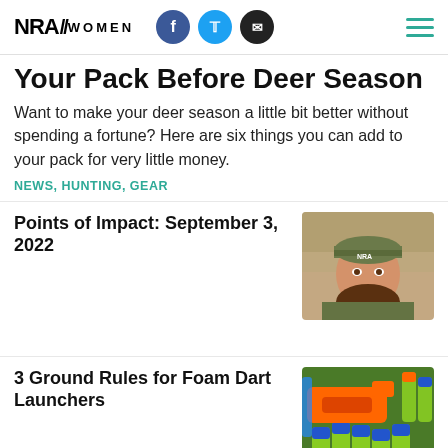NRA WOMEN
Your Pack Before Deer Season
Want to make your deer season a little bit better without spending a fortune? Here are six things you can add to your pack for very little money.
NEWS, HUNTING, GEAR
Points of Impact: September 3, 2022
[Figure (photo): Woman in camouflage gear and NRA cap smiling inside a vehicle]
3 Ground Rules for Foam Dart Launchers
[Figure (photo): Foam dart launchers and colorful foam darts in orange, green, and blue]